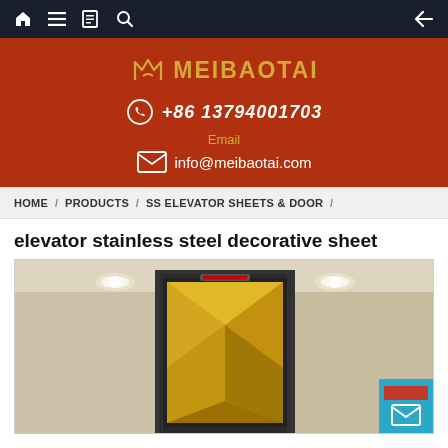Navigation bar with home, menu, book, search icons and back arrow
[Figure (logo): Meibaotai company logo with brand icon and name in gold on dark red background, phone number +86 13794001703, email info@meibaotai.com]
HOME / PRODUCTS / SS ELEVATOR SHEETS & DOOR /
elevator stainless steel decorative sheet
[Figure (photo): Elevator lobby with decorative stainless steel door panel featuring gold geometric pattern, dark frame surround, recessed ceiling lights, and beige marble walls]